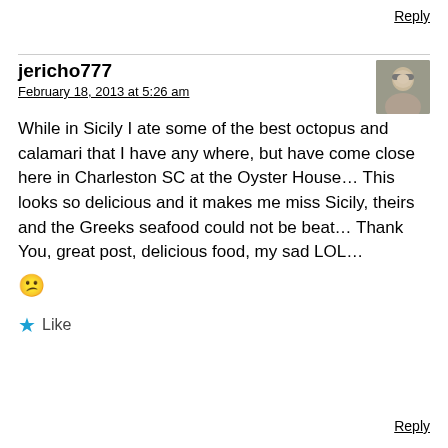Reply
jericho777
February 18, 2013 at 5:26 am
[Figure (photo): Small avatar photo of a person with grey beard/hair]
While in Sicily I ate some of the best octopus and calamari that I have any where, but have come close here in Charleston SC at the Oyster House… This looks so delicious and it makes me miss Sicily, theirs and the Greeks seafood could not be beat… Thank You, great post, delicious food, my sad LOL… 😕
★ Like
Reply